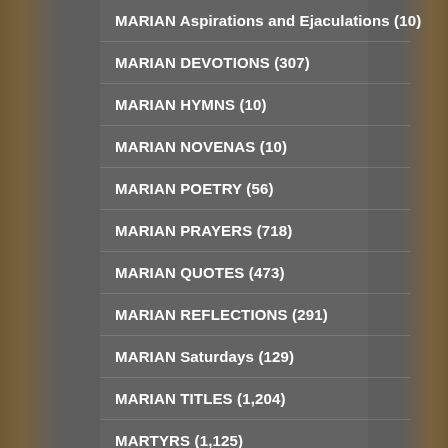MARIAN Aspirations and Ejaculations (10)
MARIAN DEVOTIONS (307)
MARIAN HYMNS (10)
MARIAN NOVENAS (10)
MARIAN POETRY (56)
MARIAN PRAYERS (718)
MARIAN QUOTES (473)
MARIAN REFLECTIONS (291)
MARIAN Saturdays (129)
MARIAN TITLES (1,204)
MARTYRS (1,125)
MARY'S MONTH (183)
MARY, MATER ECCLESIAE (23)
MATER DOLOROSA – Mother of SORROWS (85)